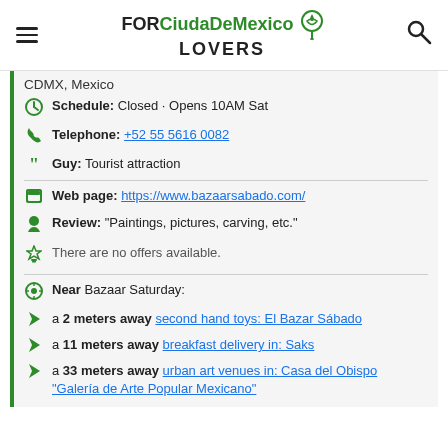FORCiudaDeMexico LOVERS
CDMX, Mexico
Schedule: Closed · Opens 10AM Sat
Telephone: +52 55 5616 0082
Guy: Tourist attraction
Web page: https://www.bazaarsabado.com/
Review: "Paintings, pictures, carving, etc."
There are no offers available.
Near Bazaar Saturday:
a 2 meters away second hand toys: El Bazar Sábado
a 11 meters away breakfast delivery in: Saks
a 33 meters away urban art venues in: Casa del Obispo "Galería de Arte Popular Mexicano"